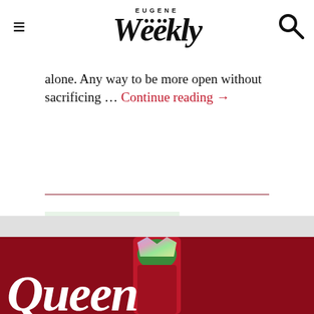EUGENE Weekly
alone. Any way to be more open without sacrificing … Continue reading →
EugPride! Fest
CULTURE / 1 WEEK AGO
[Figure (photo): A drag performer with orange hair in a colorful floral outfit standing in front of a rainbow flag]
[Figure (photo): A person with green hair wearing a colorful iridescent crown against a red background, with the word Queen visible at the bottom]